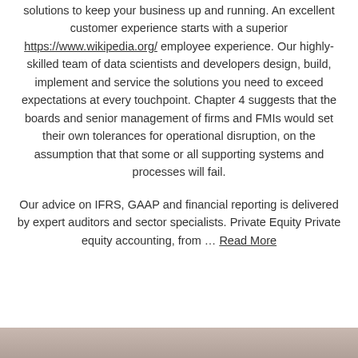solutions to keep your business up and running. An excellent customer experience starts with a superior https://www.wikipedia.org/ employee experience. Our highly-skilled team of data scientists and developers design, build, implement and service the solutions you need to exceed expectations at every touchpoint. Chapter 4 suggests that the boards and senior management of firms and FMIs would set their own tolerances for operational disruption, on the assumption that that some or all supporting systems and processes will fail.
Our advice on IFRS, GAAP and financial reporting is delivered by expert auditors and sector specialists. Private Equity Private equity accounting, from … Read More
[Figure (photo): Partial bottom image strip, appears to be a photo with brownish/warm tones, cropped at the bottom of the page.]